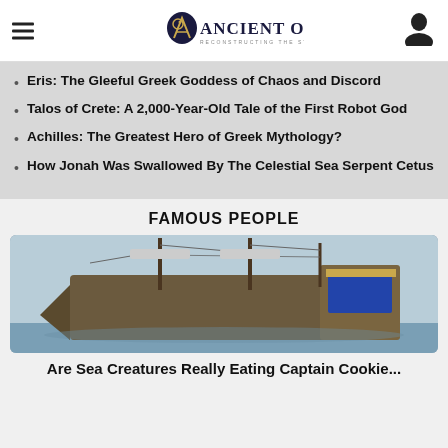Ancient Origins — Reconstructing the Story of Humanity's Past
Eris: The Gleeful Greek Goddess of Chaos and Discord
Talos of Crete: A 2,000-Year-Old Tale of the First Robot God
Achilles: The Greatest Hero of Greek Mythology?
How Jonah Was Swallowed By The Celestial Sea Serpent Cetus
FAMOUS PEOPLE
[Figure (photo): A tall-masted historical sailing ship, viewed from a low angle showing the bow and rigging against a light sky.]
Are Sea Creatures Really Eating Captain Cookie...